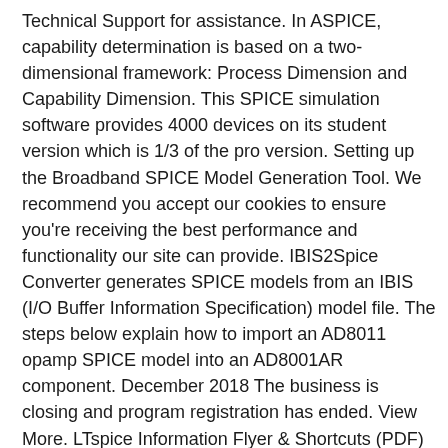Technical Support for assistance. In ASPICE, capability determination is based on a two-dimensional framework: Process Dimension and Capability Dimension. This SPICE simulation software provides 4000 devices on its student version which is 1/3 of the pro version. Setting up the Broadband SPICE Model Generation Tool. We recommend you accept our cookies to ensure you're receiving the best performance and functionality our site can provide. IBIS2Spice Converter generates SPICE models from an IBIS (I/O Buffer Information Specification) model file. The steps below explain how to import an AD8011 opamp SPICE model into an AD8001AR component. December 2018 The business is closing and program registration has ended. View More. LTspice Information Flyer & Shortcuts (PDF) SPICE combined operating point solutions, transient analysis, and various small-signal analyses with the circuit elements and device mo... Linear Technology (LT) is one of the industry leaders in analog and digital integrated circuits. A, 11/93; AD581L SPICE Macro Model Rev. In fact, several companies offer free